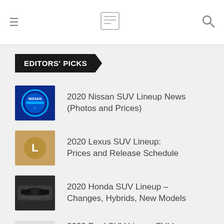EDITORS' PICKS
2020 Nissan SUV Lineup News (Photos and Prices)
2020 Lexus SUV Lineup: Prices and Release Schedule
2020 Honda SUV Lineup – Changes, Hybrids, New Models
2020 Ford SUV Lineup FULL REVIEW – Changes, Electric Models, What's New?
Best Subcompact Crossover SUVs for 2020